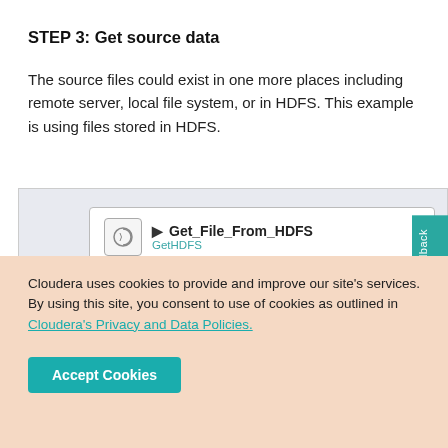STEP 3: Get source data
The source files could exist in one more places including remote server, local file system, or in HDFS. This example is using files stored in HDFS.
[Figure (screenshot): NiFi processor card showing Get_File_From_HDFS (GetHDFS) with stats: In 0 (0 bytes) 5 min, Read/Write 0 bytes / 89.73 MB 5 min, and a partially visible row below.]
Cloudera uses cookies to provide and improve our site's services. By using this site, you consent to use of cookies as outlined in Cloudera's Privacy and Data Policies.
Accept Cookies